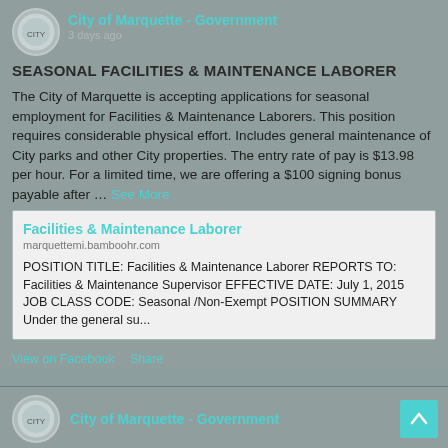City of Marquette - Government
3 days ago
SEASONAL FACILITIES & MAINTENANCE LABORER
The City of Marquette is accepting applications for seasonal employment for Facilities & Maintenance Laborers. This position requires considerable physical effort. Includes general maintenance of City parks and other City properties. The entry rate of pay is $13.98 per hour. For a limited time, we are offering a $100 signing bonus payable after ... See More
Facilities & Maintenance Laborer
marquettemi.bamboohr.com
POSITION TITLE: Facilities & Maintenance Laborer REPORTS TO: Facilities & Maintenance Supervisor EFFECTIVE DATE: July 1, 2015 JOB CLASS CODE: Seasonal /Non-Exempt POSITION SUMMARY Under the general su...
View on Facebook · Share
City of Marquette - Government